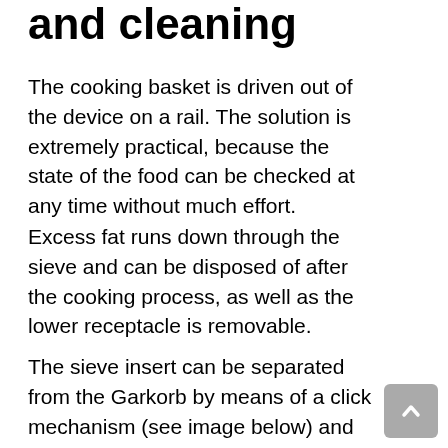and cleaning
The cooking basket is driven out of the device on a rail. The solution is extremely practical, because the state of the food can be checked at any time without much effort.
Excess fat runs down through the sieve and can be disposed of after the cooking process, as well as the lower receptacle is removable.
The sieve insert can be separated from the Garkorb by means of a click mechanism (see image below) and cleaned in the dishwasher. The cleaning is accordingly easy. With a brush, the set can also be washed off by hand.